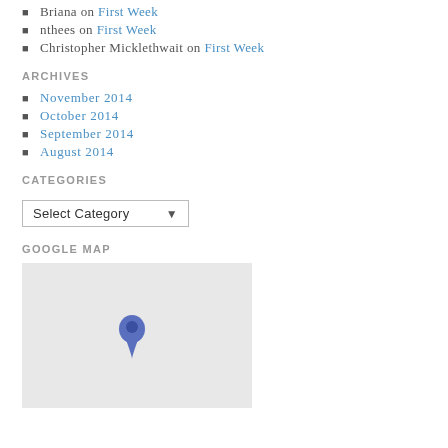Briana on First Week
nthees on First Week
Christopher Micklethwait on First Week
ARCHIVES
November 2014
October 2014
September 2014
August 2014
CATEGORIES
Select Category
GOOGLE MAP
[Figure (map): Google Map showing a location pin marker on a light grey map background]